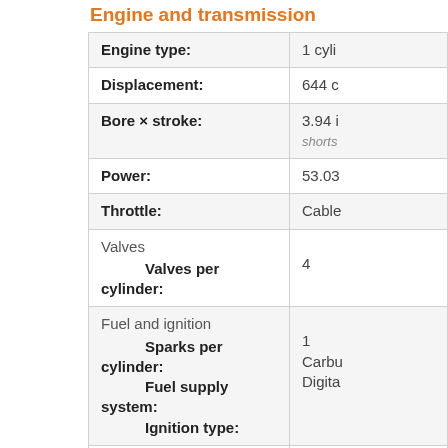Engine and transmission
| Specification | Value |
| --- | --- |
| Engine type: | 1 cyli... |
| Displacement: | 644 c... |
| Bore × stroke: | 3.94 i... shorts... |
| Power: | 53.03... |
| Throttle: | Cable... |
| Valves / Valves per cylinder: | 4 |
| Fuel and ignition / Sparks per cylinder: / Fuel supply system: / Ignition type: | 1 / Carbu... / Digita... |
| Engine mounting: | Trans... |
| Lubrication system: | Wet s... |
| Gear box: | Manu... |
| Clutch: | Wet, ... |
| Spark plug pipe type: | NGK,... |
| Motor oil: | 10W/... |